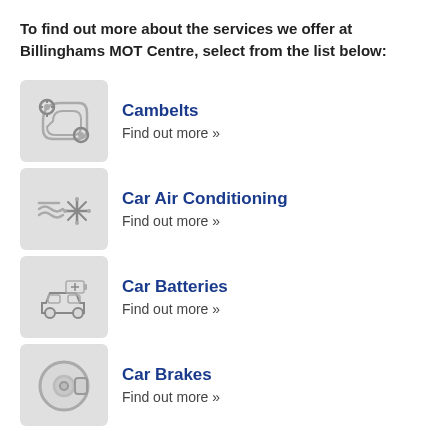To find out more about the services we offer at Billinghams MOT Centre, select from the list below:
Cambelts — Find out more »
Car Air Conditioning — Find out more »
Car Batteries — Find out more »
Car Brakes — Find out more »